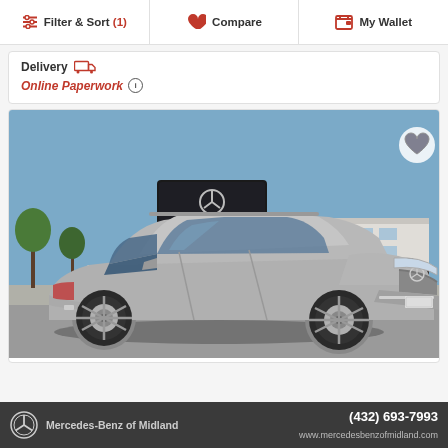Filter & Sort (1) | Compare | My Wallet
Delivery  Online Paperwork ℹ
[Figure (photo): Silver Mercedes-Benz GLC SUV parked in front of a Mercedes-Benz of Midland dealership sign under a blue sky. A heart/favorite icon is visible in the top right corner of the image.]
Mercedes-Benz of Midland  (432) 693-7993  www.mercedesbenzofmidland.com